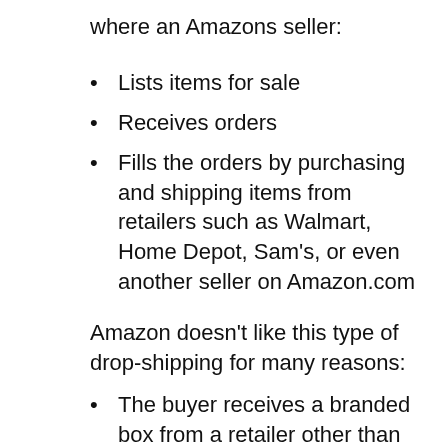where an Amazons seller:
Lists items for sale
Receives orders
Fills the orders by purchasing and shipping items from retailers such as Walmart, Home Depot, Sam's, or even another seller on Amazon.com
Amazon doesn't like this type of drop-shipping for many reasons:
The buyer receives a branded box from a retailer other than Amazon